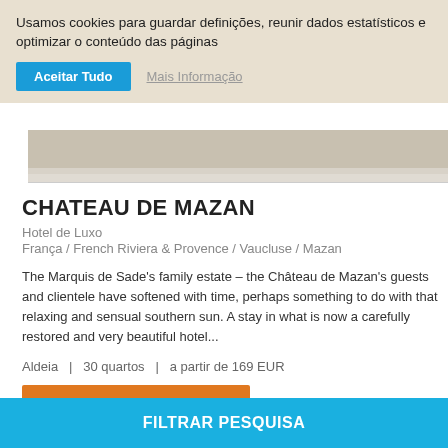Usamos cookies para guardar definições, reunir dados estatísticos e optimizar o conteúdo das páginas
Aceitar Tudo | Mais Informação
[Figure (photo): Partial photo of Chateau de Mazan hotel exterior]
CHATEAU DE MAZAN
Hotel de Luxo
França / French Riviera & Provence / Vaucluse / Mazan
The Marquis de Sade's family estate – the Château de Mazan's guests and clientele have softened with time, perhaps something to do with that relaxing and sensual southern sun. A stay in what is now a carefully restored and very beautiful hotel...
Aldeia   |   30 quartos   |   a partir de 169 EUR
VER HOTEL DE LUXO
FILTRAR PESQUISA